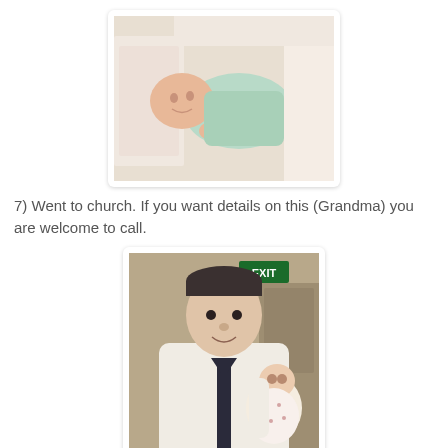[Figure (photo): A newborn baby lying on a light-colored blanket, wearing a mint green outfit, viewed from above.]
7) Went to church. If you want details on this (Grandma) you are welcome to call.
[Figure (photo): A man in a white dress shirt and dark tie holding a baby dressed in a white floral outfit inside a church or institutional building. An EXIT sign is visible in the background.]